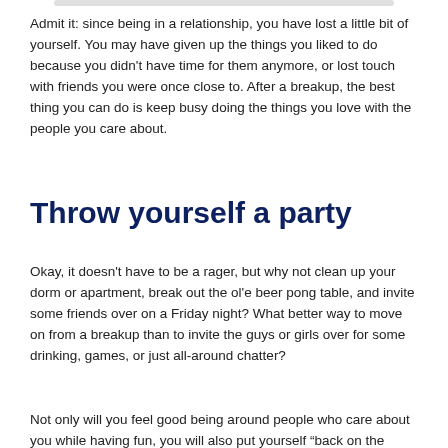Admit it: since being in a relationship, you have lost a little bit of yourself. You may have given up the things you liked to do because you didn't have time for them anymore, or lost touch with friends you were once close to. After a breakup, the best thing you can do is keep busy doing the things you love with the people you care about.
Throw yourself a party
Okay, it doesn't have to be a rager, but why not clean up your dorm or apartment, break out the ol'e beer pong table, and invite some friends over on a Friday night? What better way to move on from a breakup than to invite the guys or girls over for some drinking, games, or just all-around chatter?
Not only will you feel good being around people who care about you while having fun, you will also put yourself “back on the market” to the girls/guys in your circle of friends and beyond. What better way to say “I am confident, happy, and